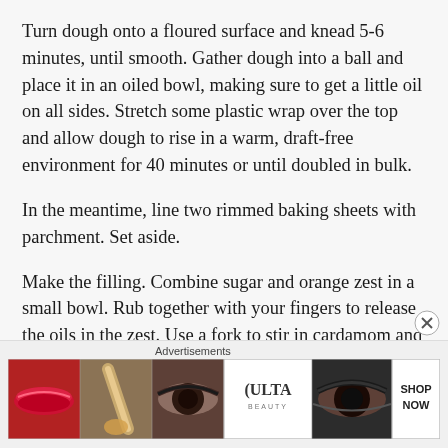Turn dough onto a floured surface and knead 5-6 minutes, until smooth. Gather dough into a ball and place it in an oiled bowl, making sure to get a little oil on all sides. Stretch some plastic wrap over the top and allow dough to rise in a warm, draft-free environment for 40 minutes or until doubled in bulk.
In the meantime, line two rimmed baking sheets with parchment. Set aside.
Make the filling. Combine sugar and orange zest in a small bowl. Rub together with your fingers to release the oils in the zest. Use a fork to stir in cardamom and salt.
Advertisements
[Figure (photo): Advertisement banner for ULTA beauty with makeup/cosmetics imagery showing lips, makeup brush, eye makeup, ULTA logo, eye close-up, and SHOP NOW text]